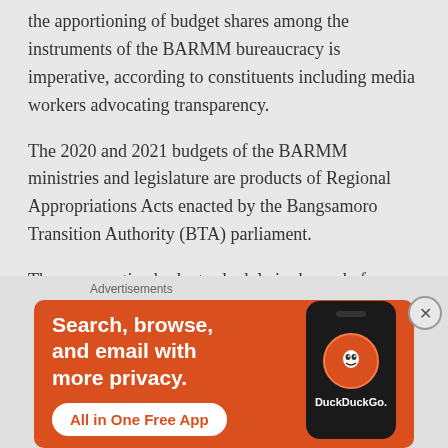the apportioning of budget shares among the instruments of the BARMM bureaucracy is imperative, according to constituents including media workers advocating transparency.
The 2020 and 2021 budgets of the BARMM ministries and legislature are products of Regional Appropriations Acts enacted by the Bangsamoro Transition Authority (BTA) parliament.
The comparative budget schedule is shown before public welfare:
[Figure (other): DuckDuckGo advertisement banner with orange background. Text: 'Search, browse, and email with more privacy. All in One Free App'. Shows a smartphone with DuckDuckGo logo.]